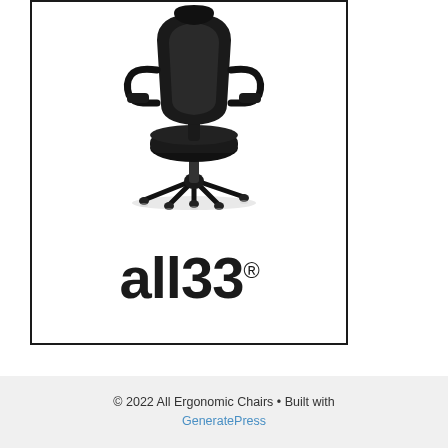[Figure (photo): A black ergonomic office chair with high back, flip-up armrests, and five-star wheeled base on a white background, displayed inside a black-bordered rectangular frame. Below the chair image, the 'all33' brand logo is shown in large bold dark text with a registered trademark symbol.]
© 2022 All Ergonomic Chairs • Built with GeneratePress